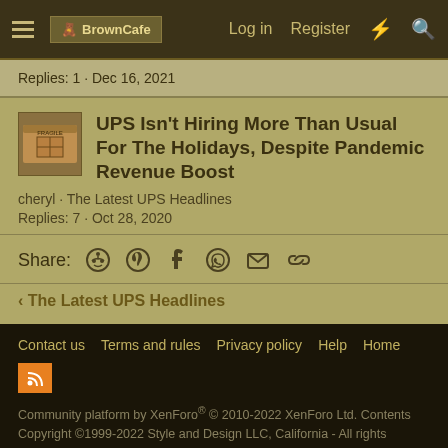BrownCafe | Log in | Register
Replies: 1 · Dec 16, 2021
UPS Isn't Hiring More Than Usual For The Holidays, Despite Pandemic Revenue Boost
cheryl · The Latest UPS Headlines
Replies: 7 · Oct 28, 2020
Share:
< The Latest UPS Headlines
Contact us  Terms and rules  Privacy policy  Help  Home
Community platform by XenForo® © 2010-2022 XenForo Ltd. Contents Copyright ©1999-2022 Style and Design LLC, California - All rights reserved